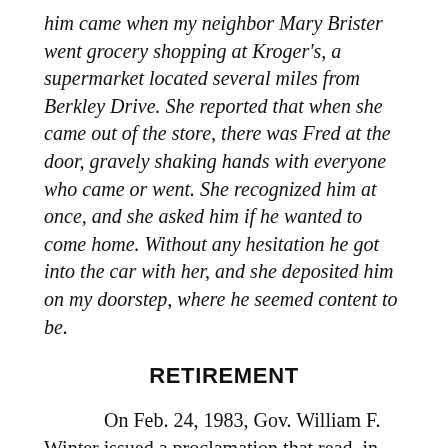him came when my neighbor Mary Brister went grocery shopping at Kroger's, a supermarket located several miles from Berkley Drive. She reported that when she came out of the store, there was Fred at the door, gravely shaking hands with everyone who came or went. She recognized him at once, and she asked him if he wanted to come home. Without any hesitation he got into the car with her, and she deposited him on my doorstep, where he seemed content to be.
RETIREMENT
On Feb. 24, 1983, Gov. William F. Winter issued a proclamation that read, in part:
WHEREAS, Charlotte Capers, writer, editor, literary critic, historian, raconteur, and administrator is a practitioner after her distinction in her chosen vocation,